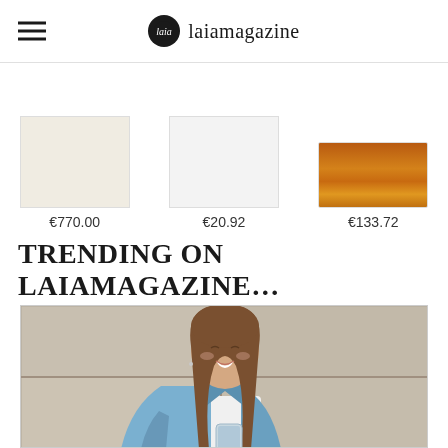laiamagazine
€770.00   €20.92   €133.72
TRENDING ON LAIAMAGAZINE…
[Figure (photo): Young woman with long brown hair smiling, wearing a denim jacket over a white top, holding a phone, standing against a stone/marble wall background]